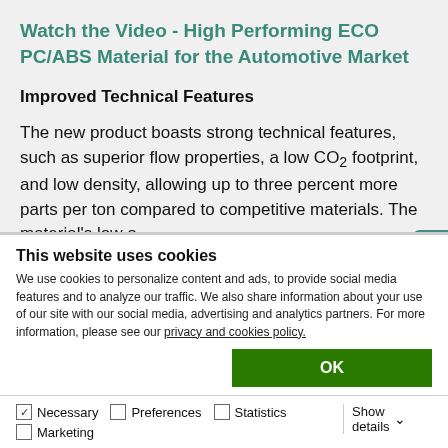Watch the Video - High Performing ECO PC/ABS Material for the Automotive Market
Improved Technical Features
The new product boasts strong technical features, such as superior flow properties, a low CO₂ footprint, and low density, allowing up to three percent more parts per ton compared to competitive materials. The material's low o
This website uses cookies
We use cookies to personalize content and ads, to provide social media features and to analyze our traffic. We also share information about your use of our site with our social media, advertising and analytics partners. For more information, please see our privacy and cookies policy.
OK
Necessary  Preferences  Statistics  Marketing  Show details